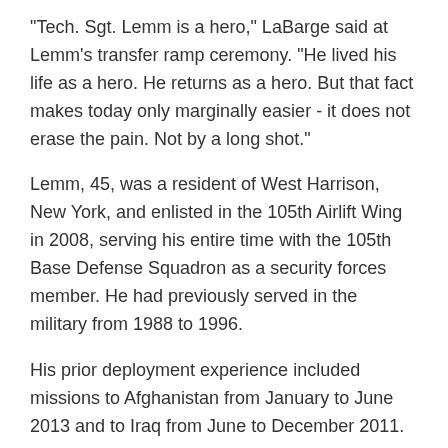"Tech. Sgt. Lemm is a hero," LaBarge said at Lemm's transfer ramp ceremony. "He lived his life as a hero. He returns as a hero. But that fact makes today only marginally easier - it does not erase the pain. Not by a long shot."
Lemm, 45, was a resident of West Harrison, New York, and enlisted in the 105th Airlift Wing in 2008, serving his entire time with the 105th Base Defense Squadron as a security forces member. He had previously served in the military from 1988 to 1996.
His prior deployment experience included missions to Afghanistan from January to June 2013 and to Iraq from June to December 2011.
On Jan. 1, members of the 105th Airlift Wing traveled to Francis S. Gabreski Air National Guard Base at West Hampton Beach, New York, to transfer the remains of Bonacasa.
Members of the 105th Airlift Wing, the 106th Rescue